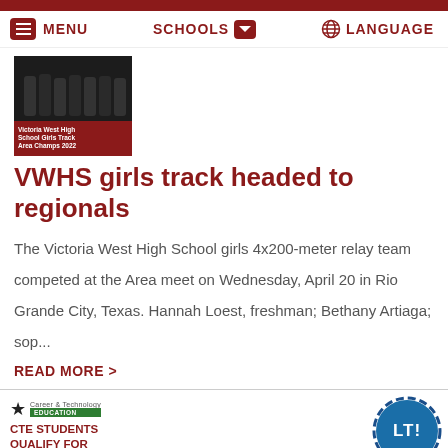MENU   SCHOOLS   LANGUAGE
[Figure (photo): Photo of Victoria West High School Girls Track team with red overlay text reading: Victoria West High School Girls Track Area Champs 2022]
VWHS girls track headed to regionals
The Victoria West High School girls 4x200-meter relay team competed at the Area meet on Wednesday, April 20 in Rio Grande City, Texas. Hannah Loest, freshman; Bethany Artiaga; sop...
READ MORE >
[Figure (logo): Career & Technology Education logo with green bar, and red text CTE STUDENTS QUALIFY FOR REGIONALS]
[Figure (other): LT blue speech bubble chat icon]